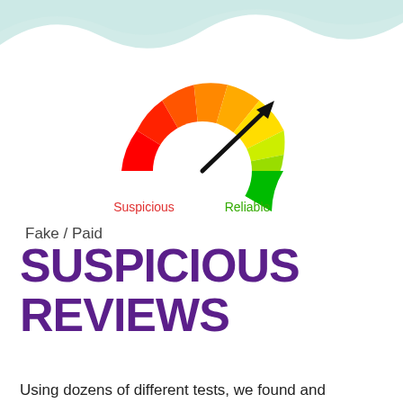[Figure (infographic): Semicircular gauge/speedometer with gradient from red (left, Suspicious) to green (right, Reliable), with a black arrow needle pointing toward the green/Reliable side. Labels: 'Suspicious' in red on the left, 'Reliable' in green on the right.]
Fake / Paid
SUSPICIOUS REVIEWS
Using dozens of different tests, we found and